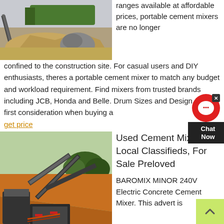[Figure (photo): Industrial quarry or mining site with green machinery and rock/sand piles]
ranges available at affordable prices, portable cement mixers are no longer confined to the construction site. For casual users and DIY enthusiasts, theres a portable cement mixer to match any budget and workload requirement. Find mixers from trusted brands including JCB, Honda and Belle. Drum Sizes and Design. The first consideration when buying a
get price
[Figure (photo): Quarry site with multiple conveyor belt machines and earthworks]
Used Cement Mixer Local Classifieds, For Sale Preloved
BAROMIX MINOR 240V Electric Concrete Cement Mixer. This advert is located in and around. Manchester. FOR SALE BAROMIX MINOR Concrete Cement Mixer 240V Electric Concrete being